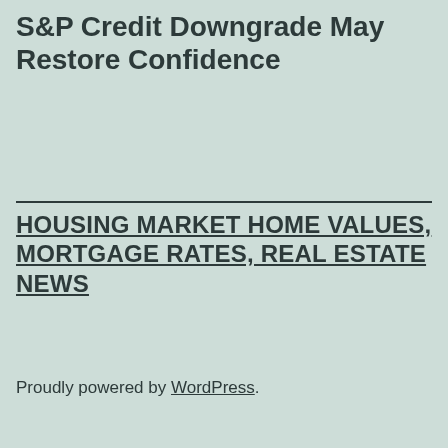S&P Credit Downgrade May Restore Confidence
HOUSING MARKET HOME VALUES, MORTGAGE RATES, REAL ESTATE NEWS
Proudly powered by WordPress.